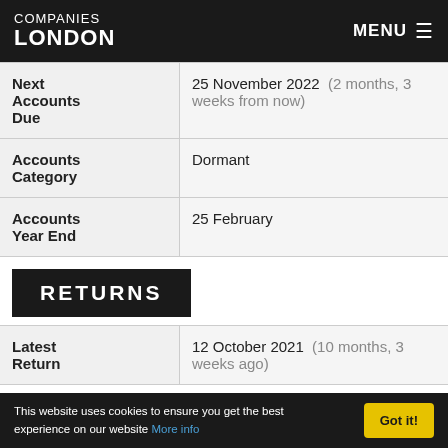COMPANIES LONDON  MENU
| Field | Value |
| --- | --- |
| Next Accounts Due | 25 November 2022  (2 months, 3 weeks from now) |
| Accounts Category | Dormant |
| Accounts Year End | 25 February |
RETURNS
| Field | Value |
| --- | --- |
| Latest Return | 12 October 2021  (10 months, 3 weeks ago) |
This website uses cookies to ensure you get the best experience on our website More info  Got it!